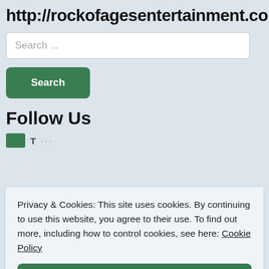http://rockofagesentertainment.com
Search ...
Search
Follow Us
Privacy & Cookies: This site uses cookies. By continuing to use this website, you agree to their use. To find out more, including how to control cookies, see here: Cookie Policy
Close and accept